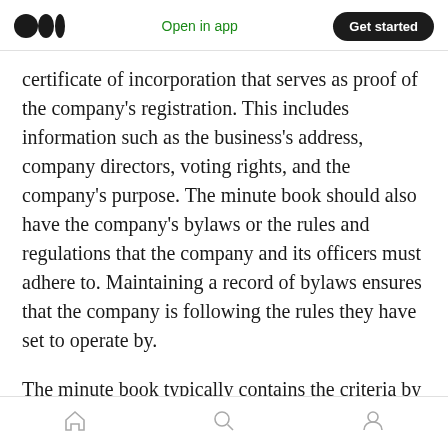Open in app | Get started
certificate of incorporation that serves as proof of the company's registration. This includes information such as the business's address, company directors, voting rights, and the company's purpose. The minute book should also have the company's bylaws or the rules and regulations that the company and its officers must adhere to. Maintaining a record of bylaws ensures that the company is following the rules they have set to operate by.
The minute book typically contains the criteria by which the company's Board of Directors and
Home | Search | Profile